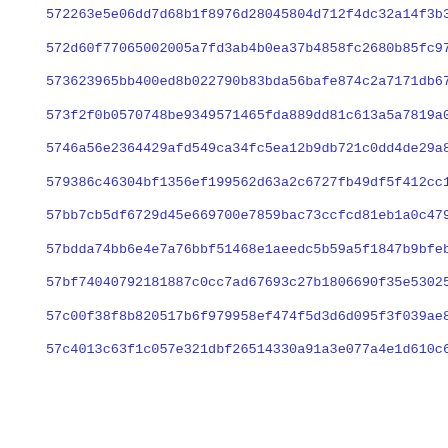572263e5e06dd7d68b1f8976d28045804d712f4dc32a14f3b32d590ee05fc
572d60f77065002005a7fd3ab4b0ea37b4858fc2680b85fc972f9a4072508
573623965bb400ed8b022790b83bda56bafe874c2a7171db675db0286c314
573f2f0b0570748be9349571465fda889dd81c613a5a7819a0b83ef9c4909
5746a56e2364429afd549ca34fc5ea12b9db721c0dd4de29a8ebbffae0305
579386c46304bf1356ef199562d63a2c6727fb49df5f412cc1068fbacfe36
57bb7cb5df6729d45e669700e7859bac73ccfcd81eb1a0c4790899b42338f
57bdda74bb6e4e7a76bbf51468e1aeedc5b59a5f1847b9bfeb144526983ee
57bf74040792181887c0cc7ad67693c27b1806690f35e530259e976ed103f
57c00f38f8b820517b6f979958ef474f5d3d6d095f3f039ae8cb0822f6c11
57c4013c63f1c057e321dbf26514330a91a3e077a4e1d610c6e9f40722b3d